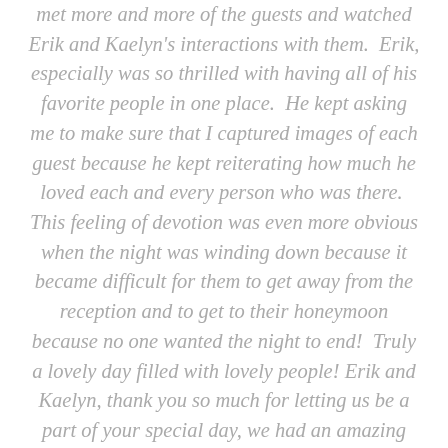met more and more of the guests and watched Erik and Kaelyn's interactions with them. Erik, especially was so thrilled with having all of his favorite people in one place. He kept asking me to make sure that I captured images of each guest because he kept reiterating how much he loved each and every person who was there. This feeling of devotion was even more obvious when the night was winding down because it became difficult for them to get away from the reception and to get to their honeymoon because no one wanted the night to end! Truly a lovely day filled with lovely people! Erik and Kaelyn, thank you so much for letting us be a part of your special day, we had an amazing time!